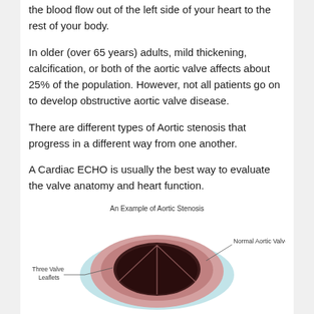the blood flow out of the left side of your heart to the rest of your body.
In older (over 65 years) adults, mild thickening, calcification, or both of the aortic valve affects about 25% of the population. However, not all patients go on to develop obstructive aortic valve disease.
There are different types of Aortic stenosis that progress in a different way from one another.
A Cardiac ECHO is usually the best way to evaluate the valve anatomy and heart function.
[Figure (illustration): Diagram labeled 'An Example of Aortic Stenosis' showing a cross-section of a normal aortic valve with labels 'Three Valve Leaflets' and 'Normal Aortic Valve'. The valve illustration shows a circular opening with reddish-brown leaflets against a pink/teal background.]